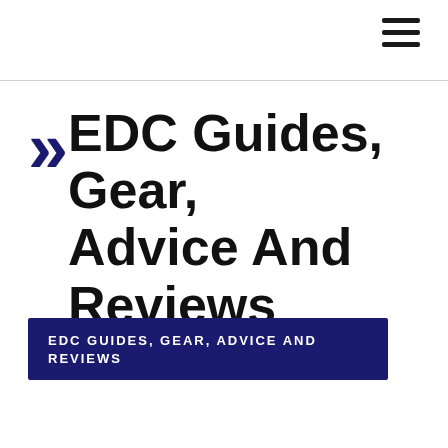EDC Guides, Gear, Advice And Reviews
EDC GUIDES, GEAR, ADVICE AND REVIEWS